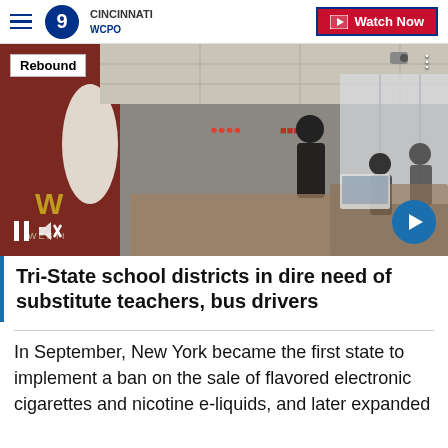WCPO 9 CINCINNATI | Watch Now
[Figure (screenshot): Classroom scene with teacher and students at desks with laptops. 'Rebound' badge in top left corner. Video player controls (pause, mute) visible at bottom left, and a blue circular next arrow at bottom right.]
Tri-State school districts in dire need of substitute teachers, bus drivers
In September, New York became the first state to implement a ban on the sale of flavored electronic cigarettes and nicotine e-liquids, and later expanded